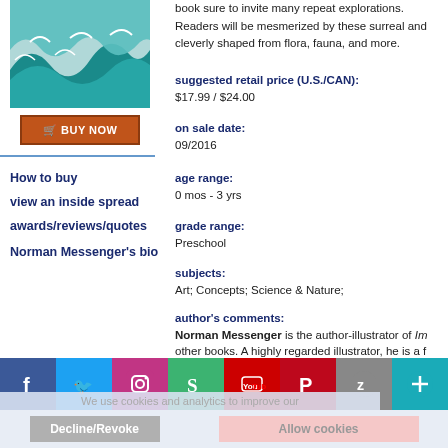[Figure (illustration): Great Wave style book cover illustration with teal waves]
[Figure (other): Buy Now button with orange background and cart icon]
How to buy
view an inside spread
awards/reviews/quotes
Norman Messenger's bio
book sure to invite many repeat explorations.
Readers will be mesmerized by these surreal and cleverly shaped from flora, fauna, and more.
suggested retail price (U.S./CAN): $17.99 / $24.00
on sale date: 09/2016
age range: 0 mos - 3 yrs
grade range: Preschool
subjects: Art; Concepts; Science & Nature;
author's comments: Norman Messenger is the author-illustrator of Im other books. A highly regarded illustrator, he is a f Illustrators in Great Britain, where he lives.
[Figure (other): Social media bar with Facebook, Twitter, Instagram, Scribd, YouTube, Pinterest, Zinio, and plus icon buttons]
We use cookies and analytics to improve our Web...
Decline/Revoke
Allow cookies